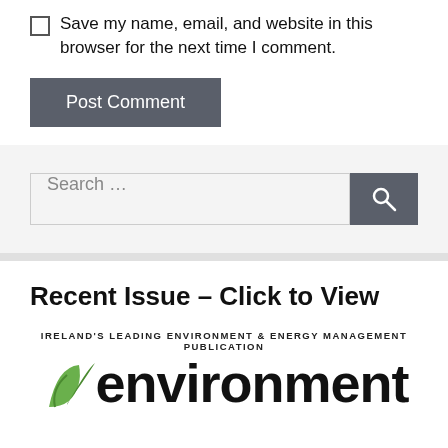Save my name, email, and website in this browser for the next time I comment.
Post Comment
Search …
Recent Issue – Click to View
[Figure (logo): Environment magazine logo with green leaf graphic and text reading 'IRELAND'S LEADING ENVIRONMENT & ENERGY MANAGEMENT PUBLICATION' above large bold text 'environment']